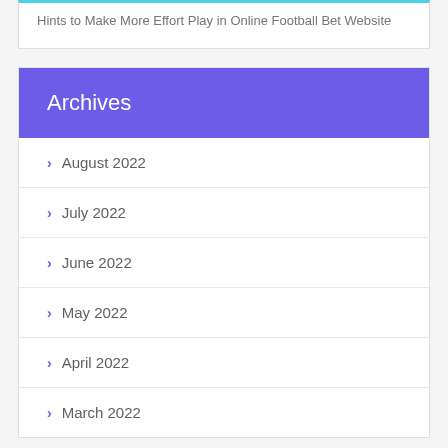Hints to Make More Effort Play in Online Football Bet Website
Archives
August 2022
July 2022
June 2022
May 2022
April 2022
March 2022